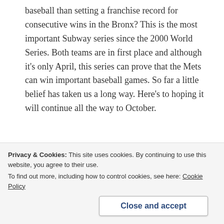baseball than setting a franchise record for consecutive wins in the Bronx? This is the most important Subway series since the 2000 World Series. Both teams are in first place and although it's only April, this series can prove that the Mets can win important baseball games. So far a little belief has taken us a long way. Here's to hoping it will continue all the way to October.
Share this:
Privacy & Cookies: This site uses cookies. By continuing to use this website, you agree to their use. To find out more, including how to control cookies, see here: Cookie Policy
Close and accept